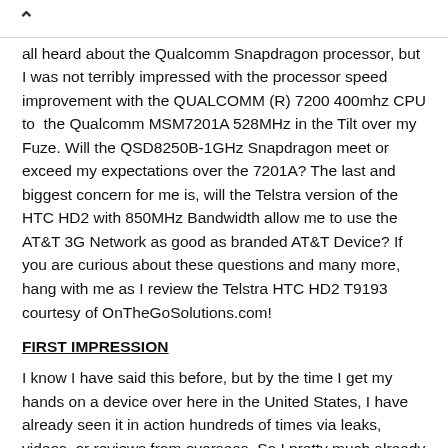screen size. Another issue is the processor. Yes, we have all heard about the Qualcomm Snapdragon processor, but I was not terribly impressed with the processor speed improvement with the QUALCOMM (R) 7200 400mhz CPU to the Qualcomm MSM7201A 528MHz in the Tilt over my Fuze. Will the QSD8250B-1GHz Snapdragon meet or exceed my expectations over the 7201A? The last and biggest concern for me is, will the Telstra version of the HTC HD2 with 850MHz Bandwidth allow me to use the AT&T 3G Network as good as branded AT&T Device? If you are curious about these questions and many more, hang with me as I review the Telstra HTC HD2 T9193 courtesy of OnTheGoSolutions.com!
FIRST IMPRESSION
I know I have said this before, but by the time I get my hands on a device over here in the United States, I have already seen it in action hundreds of times via leaks, videos, or reviews from overseas. So I pretty much already knew what I was getting. But I was very curious as to just how large the HD2 really was. So